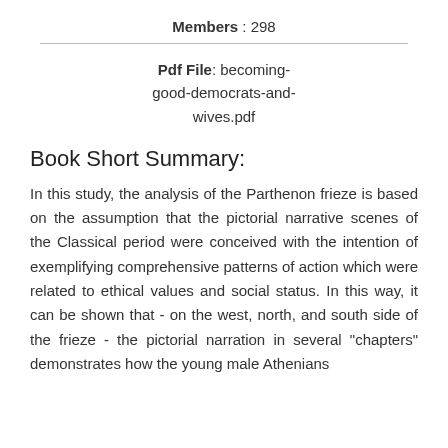Members : 298
Pdf File: becoming-good-democrats-and-wives.pdf
Book Short Summary:
In this study, the analysis of the Parthenon frieze is based on the assumption that the pictorial narrative scenes of the Classical period were conceived with the intention of exemplifying comprehensive patterns of action which were related to ethical values and social status. In this way, it can be shown that - on the west, north, and south side of the frieze - the pictorial narration in several "chapters" demonstrates how the young male Athenians